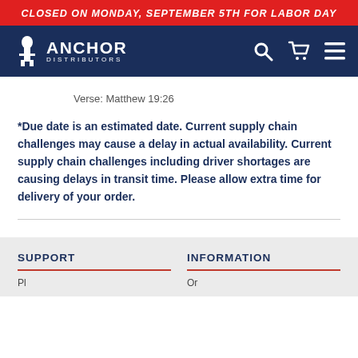CLOSED ON MONDAY, SEPTEMBER 5TH FOR LABOR DAY
[Figure (logo): Anchor Distributors logo with figure icon and text 'ANCHOR DISTRIBUTORS' on dark navy background, with search, cart, and menu icons on right]
Verse: Matthew 19:26
*Due date is an estimated date. Current supply chain challenges may cause a delay in actual availability. Current supply chain challenges including driver shortages are causing delays in transit time. Please allow extra time for delivery of your order.
SUPPORT
INFORMATION